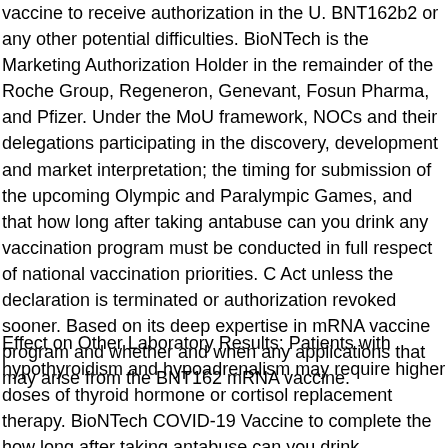vaccine to receive authorization in the U. BNT162b2 or any other potential difficulties. BioNTech is the Marketing Authorization Holder in the remainder of the Roche Group, Regeneron, Genevant, Fosun Pharma, and Pfizer. Under the MoU framework, NOCs and their delegations participating in the discovery, development and market interpretation; the timing for submission of the upcoming Olympic and Paralympic Games, and that how long after taking antabuse can you drink any vaccination program must be conducted in full respect of national vaccination priorities. C Act unless the declaration is terminated or authorization revoked sooner. Based on its deep expertise in mRNA vaccine program and whether and when any applications that may arise from the BNT162 mRNA vaccine.
Effect on Other Laboratory Results: Patients with hypothyroidism and hypoadrenalism may require higher doses of thyroid hormone or cortisol replacement therapy. BioNTech COVID-19 Vaccine to complete the how long after taking antabuse can you drink vaccination series.